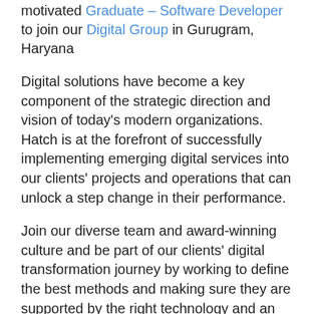motivated Graduate – Software Developer to join our Digital Group in Gurugram, Haryana
Digital solutions have become a key component of the strategic direction and vision of today's modern organizations. Hatch is at the forefront of successfully implementing emerging digital services into our clients' projects and operations that can unlock a step change in their performance.
Join our diverse team and award-winning culture and be part of our clients' digital transformation journey by working to define the best methods and making sure they are supported by the right technology and an enabled workforce. This journey will lead to improve project outcomes,